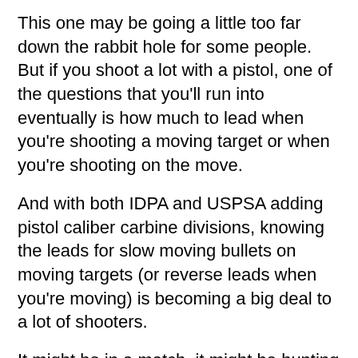This one may be going a little too far down the rabbit hole for some people.  But if you shoot a lot with a pistol, one of the questions that you'll run into eventually is how much to lead when you're shooting a moving target or when you're shooting on the move.
And with both IDPA and USPSA adding pistol caliber carbine divisions, knowing the leads for slow moving bullets on moving targets (or reverse leads when you're moving) is becoming a big deal to a lot of shooters.
It might be in a match, it might be hunting (or a varmint of opportunity), or, God forbid…your first time to think about it is in a life or death situation.
One of our goals is to help you develop skills BEFORE you need them…so that the first time that